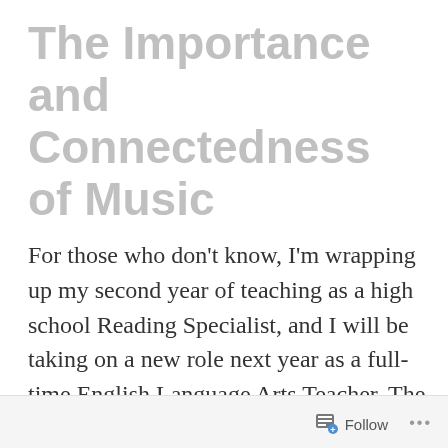The Importance and Connectedness of Music
For those who don't know, I'm wrapping up my second year of teaching as a high school Reading Specialist, and I will be taking on a new role next year as a full-time English Language Arts Teacher. The experience has been tremendous thus far, in spite of learning how to navigate the
Follow ...